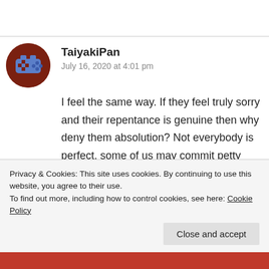TaiyakiPan
July 16, 2020 at 4:01 pm
[Figure (illustration): Circular avatar icon with brown background and a blue pixel/game-controller style symbol.]
I feel the same way. If they feel truly sorry and their repentance is genuine then why deny them absolution? Not everybody is perfect, some of us may commit petty wrongdoings or crimes, some may be heavy. And we don't know why they did it or what pushed them to commit them so who are we to judge. Also, the act of forgiveness is therapeutic to the soul. It can bring peace, I kid
Privacy & Cookies: This site uses cookies. By continuing to use this website, you agree to their use.
To find out more, including how to control cookies, see here: Cookie Policy
Close and accept